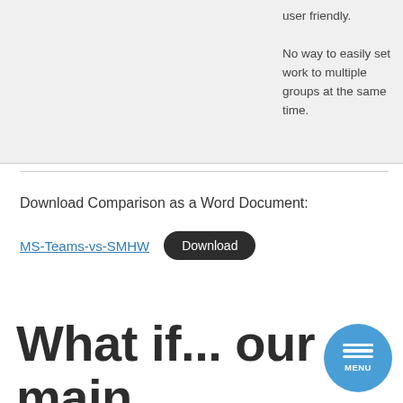| user friendly. | No way to easily set work to multiple groups at the same time. |
Download Comparison as a Word Document:
MS-Teams-vs-SMHW   Download
What if... our main objective in